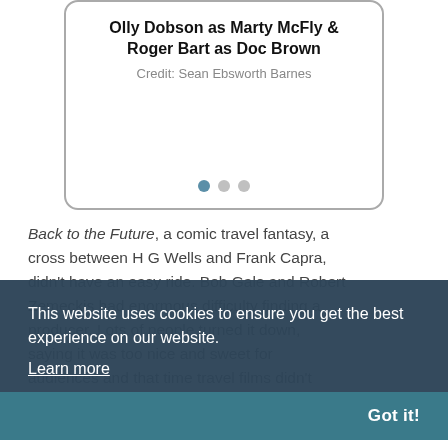[Figure (other): Slideshow card with text: 'Olly Dobson as Marty McFly & Roger Bart as Doc Brown', credit 'Sean Ebsworth Barnes', and three navigation dots]
Back to the Future, a comic travel fantasy, a cross between H G Wells and Frank Capra, didn't have an easy ride. Bob Gale and Robert Zemeckis had enormous difficulty finding a producer. Lots of people turned it down, saying it was too nice and sweet for audiences and that time travel films didn't make money.
This website uses cookies to ensure you get the best experience on our website.
Learn more
Got it!
It took them 14 years to get it on screen. The